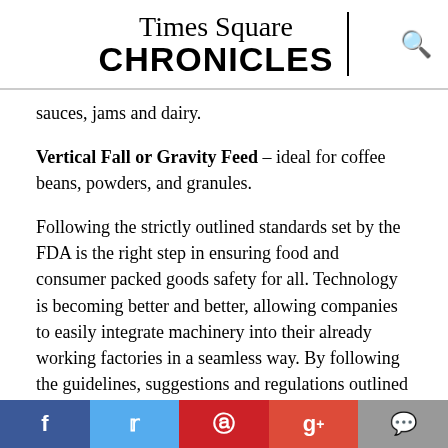Times Square CHRONICLES
sauces, jams and dairy.
Vertical Fall or Gravity Feed – ideal for coffee beans, powders, and granules.
Following the strictly outlined standards set by the FDA is the right step in ensuring food and consumer packed goods safety for all. Technology is becoming better and better, allowing companies to easily integrate machinery into their already working factories in a seamless way. By following the guidelines, suggestions and regulations outlined by the FDA and Health Hazard Evaluation Board, businesses not only optimize their metal and contamination detection, keeping their consumers safe
f | tweet | pinterest | g+ | comment